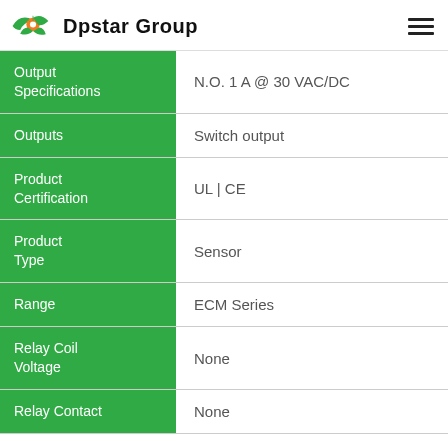Dpstar Group
| Specification | Value |
| --- | --- |
| Output Specifications | N.O. 1 A @ 30 VAC/DC |
| Outputs | Switch output |
| Product Certification | UL | CE |
| Product Type | Sensor |
| Range | ECM Series |
| Relay Coil Voltage | None |
| Relay Contact | None |